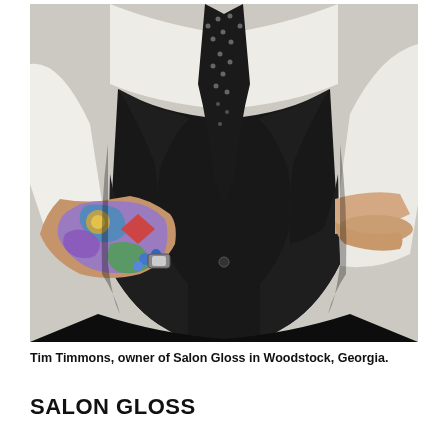[Figure (photo): A person (torso only, no head visible) wearing a black vest over a white dress shirt with a black polka-dot tie. Their arms are crossed, revealing a colorful sleeve tattoo covering the left forearm with intricate designs in purple, blue, green, red, and yellow. They also wear a watch. The background is light grey/white.]
Tim Timmons, owner of Salon Gloss in Woodstock, Georgia.
SALON GLOSS